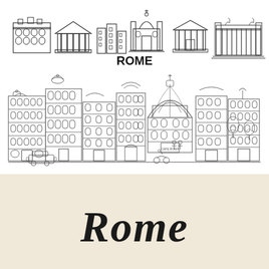[Figure (illustration): Line drawing icons of Rome landmarks including the Colosseum, Pantheon, buildings, a church with dome, a classical temple, and a long classical building, arranged in a row with the word ROME in bold beneath them]
[Figure (illustration): Detailed line art skyline illustration of Rome showing classical buildings, domes, ornate facades, a church dome (resembling St. Peter's), trees, vintage cars, and people on scooters along a street]
Rome